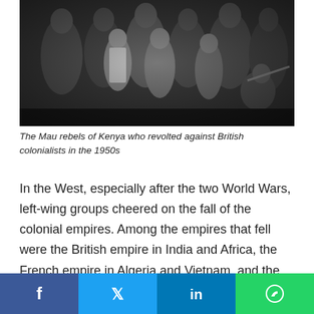[Figure (photo): Black and white photograph of the Mau rebels of Kenya, a group of people photographed together]
The Mau rebels of Kenya who revolted against British colonialists in the 1950s
In the West, especially after the two World Wars, left-wing groups cheered on the fall of the colonial empires. Among the empires that fell were the British empire in India and Africa, the French empire in Algeria and Vietnam, and the Dutch empire in Indonesia. In the colonised countries, nationalist groups led the struggle against the colonial pow…